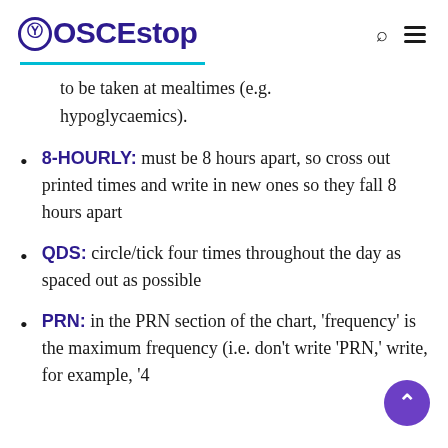OSCEstop
to be taken at mealtimes (e.g. hypoglycaemics).
8-HOURLY: must be 8 hours apart, so cross out printed times and write in new ones so they fall 8 hours apart
QDS: circle/tick four times throughout the day as spaced out as possible
PRN: in the PRN section of the chart, 'frequency' is the maximum frequency (i.e. don't write 'PRN,' write, for example, '4